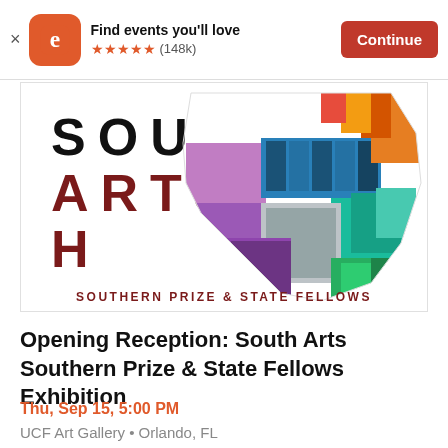Find events you'll love ★★★★★ (148k)  Continue
[Figure (illustration): South Arts 2021 Southern Prize & State Fellows exhibition logo with collage of artworks shaped like southeastern US states map]
Opening Reception: South Arts Southern Prize & State Fellows Exhibition
Thu, Sep 15, 5:00 PM
UCF Art Gallery • Orlando, FL